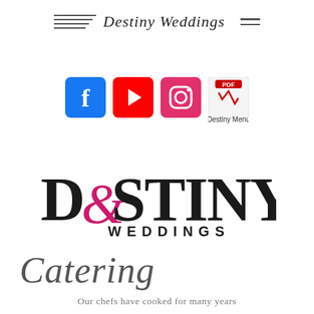Destiny Weddings
[Figure (logo): Social media icons: Facebook, YouTube, Instagram, and a PDF icon labeled 'Destiny Menu']
[Figure (logo): Destiny Weddings logo with large decorative text 'DESTINY WEDDINGS', the E in Destiny styled in pink/magenta script]
Catering
Our chefs have cooked for many years